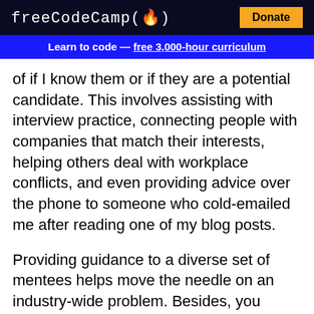freeCodeCamp(🔥)  Donate
Learn to code — free 3,000-hour curriculum
of if I know them or if they are a potential candidate. This involves assisting with interview practice, connecting people with companies that match their interests, helping others deal with workplace conflicts, and even providing advice over the phone to someone who cold-emailed me after reading one of my blog posts.
Providing guidance to a diverse set of mentees helps move the needle on an industry-wide problem. Besides, you might find that your help comes back around in unexpected ways; maybe